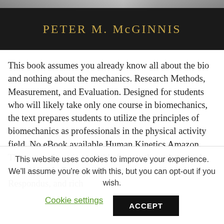[Figure (photo): Book cover banner with dark background showing author name PETER M. McGINNIS in gold/tan colored text]
This book assumes you already know all about the bio and nothing about the mechanics. Research Methods, Measurement, and Evaluation. Designed for students who will likely take only one course in biomechanics, the text prepares students to utilize the principles of biomechanics as professionals in the physical activity field. No eBook available Human Kinetics Amazon. The test package is available for use through multiple formats, including a learning management system, Respondus, and rich
This website uses cookies to improve your experience. We'll assume you're ok with this, but you can opt-out if you wish.
Cookie settings   ACCEPT